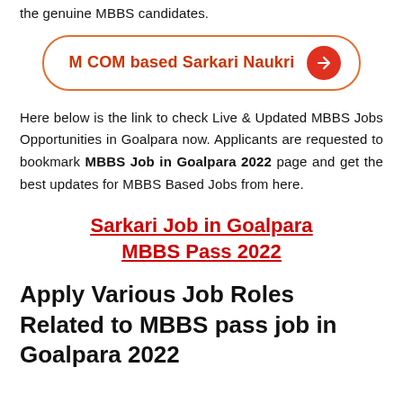the genuine MBBS candidates.
[Figure (other): Button/link styled element reading 'M COM based Sarkari Naukri' with an orange rounded border and a red circular arrow button on the right]
Here below is the link to check Live & Updated MBBS Jobs Opportunities in Goalpara now. Applicants are requested to bookmark MBBS Job in Goalpara 2022 page and get the best updates for MBBS Based Jobs from here.
Sarkari Job in Goalpara MBBS Pass 2022
Apply Various Job Roles Related to MBBS pass job in Goalpara 2022